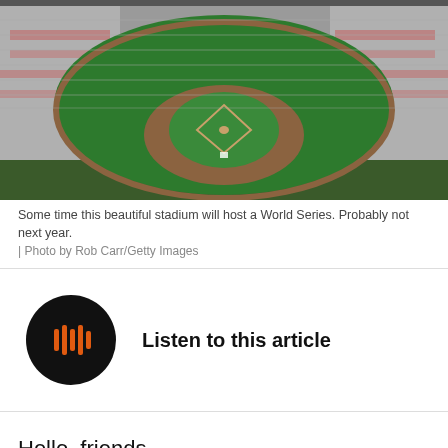[Figure (photo): Aerial view of a baseball stadium packed with fans, showing the field, diamond, and packed red-and-white seating sections from above.]
Some time this beautiful stadium will host a World Series. Probably not next year. | Photo by Rob Carr/Getty Images
[Figure (other): Listen to this article audio player button — black circle with orange play/sound wave icon]
Hello, friends.